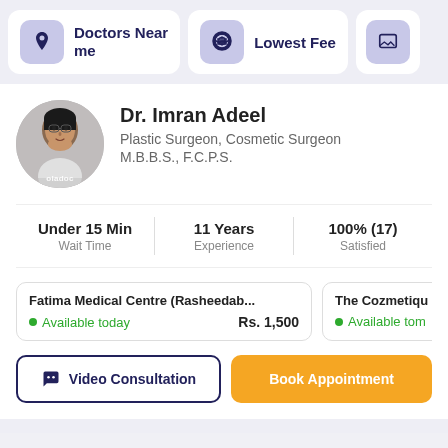[Figure (screenshot): Top navigation bar with 'Doctors Near me', 'Lowest Fee', and a third partially visible button]
[Figure (photo): Circular profile photo of Dr. Imran Adeel with oladoc watermark]
Dr. Imran Adeel
Plastic Surgeon, Cosmetic Surgeon
M.B.B.S., F.C.P.S.
Under 15 Min Wait Time
11 Years Experience
100% (17) Satisfied
Fatima Medical Centre (Rasheedab...
Available today
Rs. 1,500
The Cozmetiqu
Available tom
Video Consultation
Book Appointment